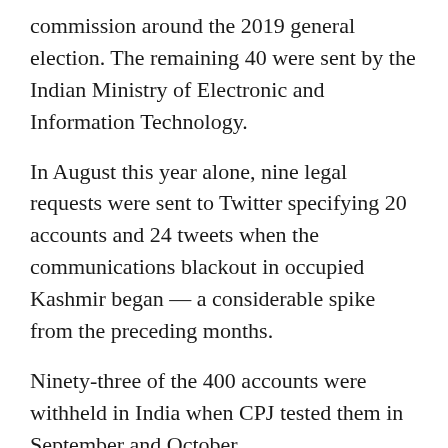commission around the 2019 general election. The remaining 40 were sent by the Indian Ministry of Electronic and Information Technology.
In August this year alone, nine legal requests were sent to Twitter specifying 20 accounts and 24 tweets when the communications blackout in occupied Kashmir began — a considerable spike from the preceding months.
Ninety-three of the 400 accounts were withheld in India when CPJ tested them in September and October.
The vast majority (90pc) of the withheld accounts were from the group that referenced Kashmir, hosting over 920,000 tweets between them, the CPJ found.
It is pertinent to mention that the actual number of demands, tweets and accounts may be much higher as CPJ was able to